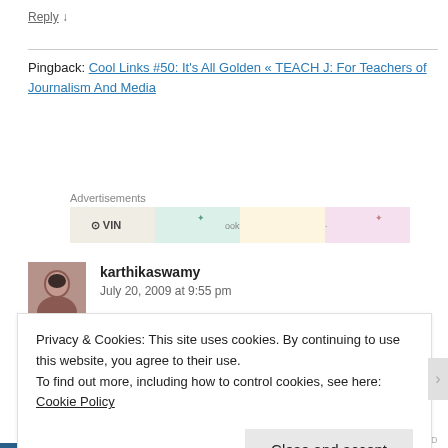Reply ↓
Pingback: Cool Links #50: It's All Golden « TEACH J: For Teachers of Journalism And Media
Advertisements
[Figure (photo): Avatar photo of karthikaswamy]
karthikaswamy
July 20, 2009 at 9:55 pm
Privacy & Cookies: This site uses cookies. By continuing to use this website, you agree to their use.
To find out more, including how to control cookies, see here: Cookie Policy
Close and accept
REPORT THIS AD